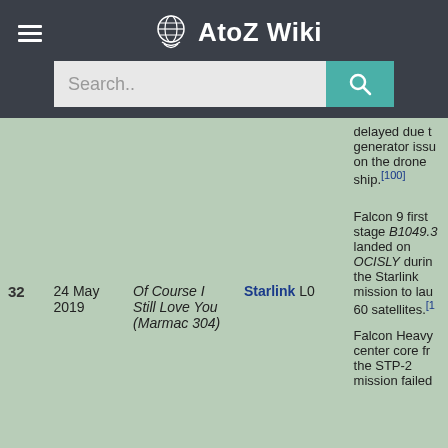AtoZ Wiki
| # | Date | Ship | Payload | Notes |
| --- | --- | --- | --- | --- |
| 32 | 24 May 2019 | Of Course I Still Love You (Marmac 304) | Starlink L0 | delayed due to generator issue on the drone ship.[100] Falcon 9 first stage B1049.3 landed on OCISLY during the Starlink mission to launch 60 satellites.[1] Falcon Heavy center core from the STP-2 mission failed... |